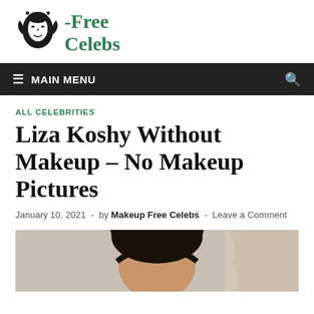[Figure (logo): Makeup Free Celebs logo: black and white illustrated face with leaves, next to green bold text '-Free Celebs']
≡ MAIN MENU
ALL CELEBRITIES
Liza Koshy Without Makeup – No Makeup Pictures
January 10, 2021  -  by Makeup Free Celebs  -  Leave a Comment
[Figure (photo): Bottom portion of article page showing top of a person's head with dark hair, partially visible against a neutral background]